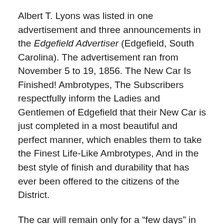Albert T. Lyons was listed in one advertisement and three announcements in the Edgefield Advertiser (Edgefield, South Carolina).  The advertisement ran from November 5 to 19, 1856. The New Car Is Finished!  Ambrotypes, The Subscribers respectfully inform the Ladies and Gentlemen of Edgefield that their New Car is just completed in a most beautiful and perfect manner, which enables them to take the Finest Life-Like Ambrotypes, And in the best style of finish and durability that has ever been offered to the citizens of the District.
The car will remain only for a “few days” in this Town.  Therefore, if you want your likeness—and such as one as will give you satisfaction—call soon, or the Car will leave you.
They wil’ also take Ambrotypes for medallions, Broaches, Lockets, and Finger Rings.  Portraits of deceased persons copied accurately.